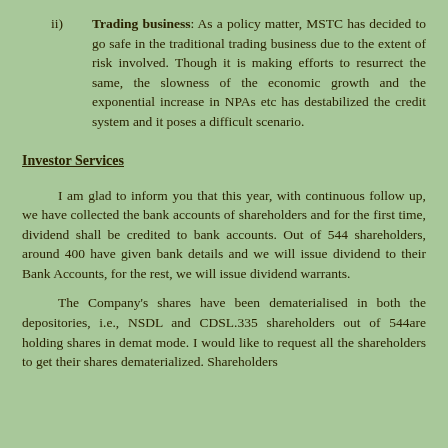ii) Trading business: As a policy matter, MSTC has decided to go safe in the traditional trading business due to the extent of risk involved. Though it is making efforts to resurrect the same, the slowness of the economic growth and the exponential increase in NPAs etc has destabilized the credit system and it poses a difficult scenario.
Investor Services
I am glad to inform you that this year, with continuous follow up, we have collected the bank accounts of shareholders and for the first time, dividend shall be credited to bank accounts. Out of 544 shareholders, around 400 have given bank details and we will issue dividend to their Bank Accounts, for the rest, we will issue dividend warrants.
The Company's shares have been dematerialised in both the depositories, i.e., NSDL and CDSL.335 shareholders out of 544are holding shares in demat mode. I would like to request all the shareholders to get their shares dematerialized. Shareholders